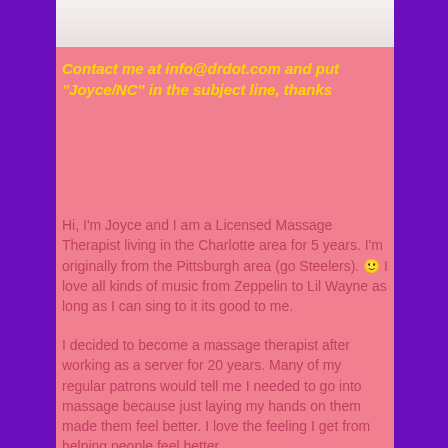[Figure (photo): Partial photo visible at top of page, showing lower portion of a person in white clothing]
Contact me at info@drdot.com and put "Joyce/NC" in the subject line, thanks
Hi, I'm Joyce and I am a Licensed Massage Therapist living in the Charlotte area for 5 years. I'm originally from the Pittsburgh area (go Steelers). 🙂 I love all kinds of music from Zeppelin to Lil Wayne as long as I can sing to it its good to me.
I decided to become a massage therapist after working as a server for 20 years. Many of my regular patrons would tell me I needed to go into massage because just laying my hands on them made them feel better. I love the feeling I get from helping people feel better.